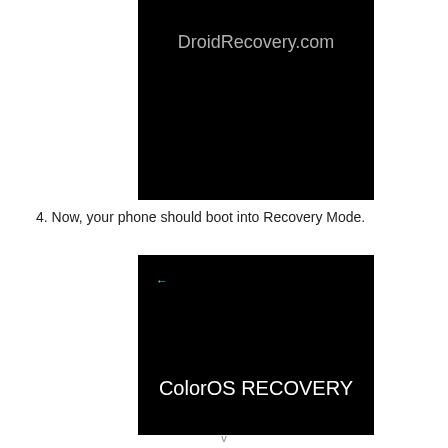[Figure (screenshot): Black screen with 'DroidRecovery.com' text in gray/white at top center — a phone screen showing a dark bootloader or watermark screen]
4. Now, your phone should boot into Recovery Mode.
[Figure (screenshot): Black screen with 'ColorOS RECOVERY' text in white at bottom center and a small left arrow icon near top left — a phone screen showing the ColorOS Recovery Mode boot screen]